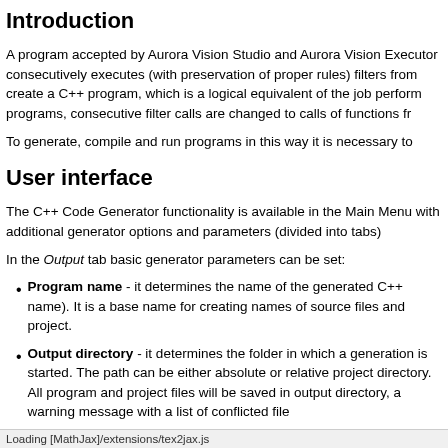Introduction
A program accepted by Aurora Vision Studio and Aurora Vision Executor consecutively executes (with preservation of proper rules) filters from create a C++ program, which is a logical equivalent of the job performed programs, consecutive filter calls are changed to calls of functions fr
To generate, compile and run programs in this way it is necessary to
User interface
The C++ Code Generator functionality is available in the Main Menu with additional generator options and parameters (divided into tabs)
In the Output tab basic generator parameters can be set:
Program name - it determines the name of the generated C++ name). It is a base name for creating names of source files and project.
Output directory - it determines the folder in which a generation is started. The path can be either absolute or relative project directory. All program and project files will be saved in output directory, a warning message with a list of conflicted file
Code namespace - an optional namespace, in which the whole lines and use :: as a separator (e.g. "MyNamespace